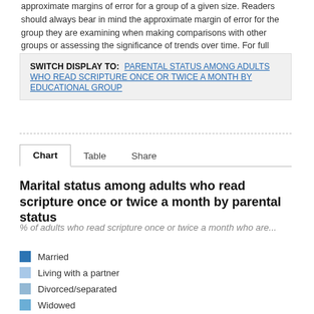approximate margins of error for a group of a given size. Readers should always bear in mind the approximate margin of error for the group they are examining when making comparisons with other groups or assessing the significance of trends over time. For full question wording, see the survey questionnaire.
SWITCH DISPLAY TO: PARENTAL STATUS AMONG ADULTS WHO READ SCRIPTURE ONCE OR TWICE A MONTH BY EDUCATIONAL GROUP
Chart   Table   Share
Marital status among adults who read scripture once or twice a month by parental status
% of adults who read scripture once or twice a month who are...
Married
Living with a partner
Divorced/separated
Widowed